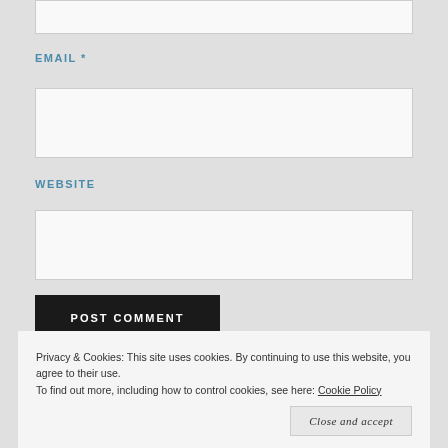[Figure (screenshot): Top portion of a web comment form input box (cropped at top)]
EMAIL *
[Figure (screenshot): Email input text field, empty, white background with border]
WEBSITE
[Figure (screenshot): Website input text field, empty, white background with border]
POST COMMENT
Privacy & Cookies: This site uses cookies. By continuing to use this website, you agree to their use.
To find out more, including how to control cookies, see here: Cookie Policy
Close and accept